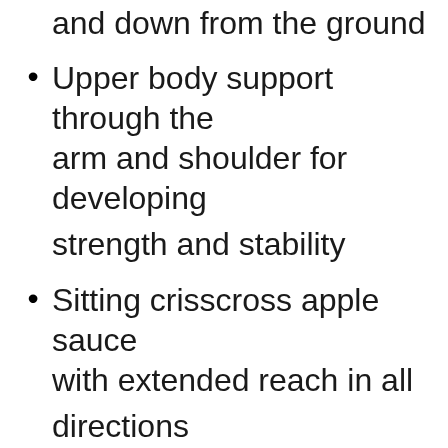and down from the ground
Upper body support through the arm and shoulder for developing strength and stability
Sitting crisscross apple sauce with extended reach in all directions
Weighted containers to pour, mix, and dump water
Coordination skills
Motor planning